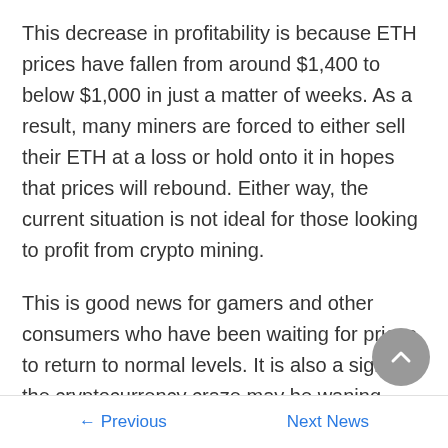This decrease in profitability is because ETH prices have fallen from around $1,400 to below $1,000 in just a matter of weeks. As a result, many miners are forced to either sell their ETH at a loss or hold onto it in hopes that prices will rebound. Either way, the current situation is not ideal for those looking to profit from crypto mining.
This is good news for gamers and other consumers who have been waiting for prices to return to normal levels. It is also a sign that the cryptocurrency craze may be waning, which could have a positive impact on the overall economy.
← Previous    Next News